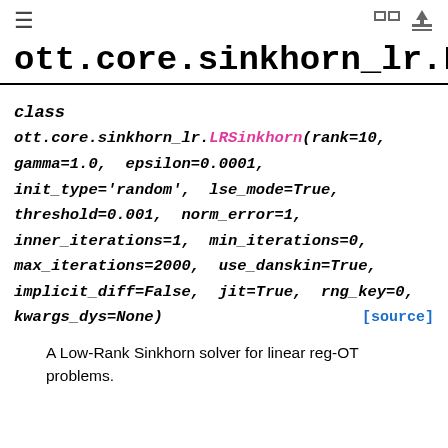≡  [icons]
ott.core.sinkhorn_lr.LRSink
class
ott.core.sinkhorn_lr.LRSinkhorn(rank=10, gamma=1.0, epsilon=0.0001, init_type='random', lse_mode=True, threshold=0.001, norm_error=1, inner_iterations=1, min_iterations=0, max_iterations=2000, use_danskin=True, implicit_diff=False, jit=True, rng_key=0, kwargs_dys=None) [source]
A Low-Rank Sinkhorn solver for linear reg-OT problems.